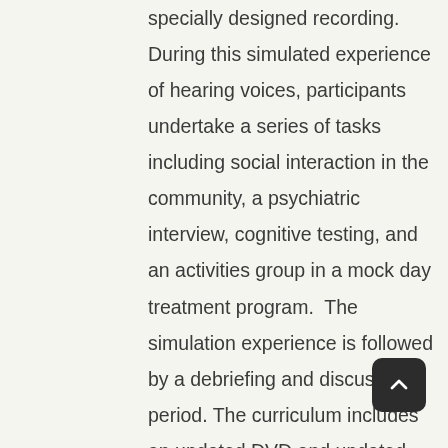specially designed recording. During this simulated experience of hearing voices, participants undertake a series of tasks including social interaction in the community, a psychiatric interview, cognitive testing, and an activities group in a mock day treatment program. The simulation experience is followed by a debriefing and discussion period. The curriculum includes an updated DVD and updated discussion questions that focus on what we can do to support people who hear voices.